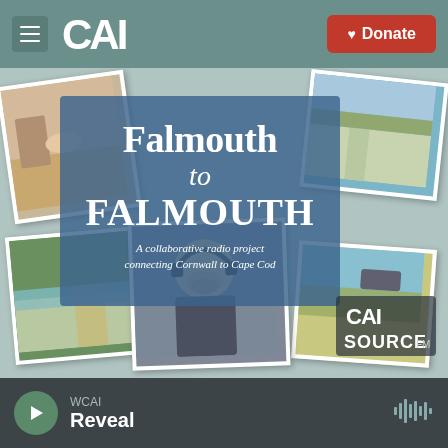CAI | Donate
[Figure (illustration): Falmouth to Falmouth collaborative radio project promotional image. A collage of outdoor photos from Cape Cod and Cornwall, with a blue overlay box in the center containing the text 'Falmouth to FALMOUTH - A collaborative radio project connecting Cornwall to Cape Cod'. CAI and Source FM logos appear in the bottom right corner of the image.]
WCAI
Reveal